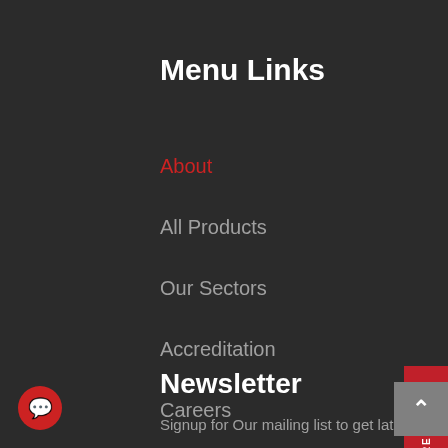Menu Links
About
All Products
Our Sectors
Accreditation
Careers
Client Login
Newsletter
Signup for Our mailing list to get latest
[Figure (other): Red vertical 'ENQUIRE NOW' button with phone icon on right side of page]
[Figure (other): Red circular chat bubble icon at bottom left]
[Figure (other): Grey back-to-top arrow button at bottom right]